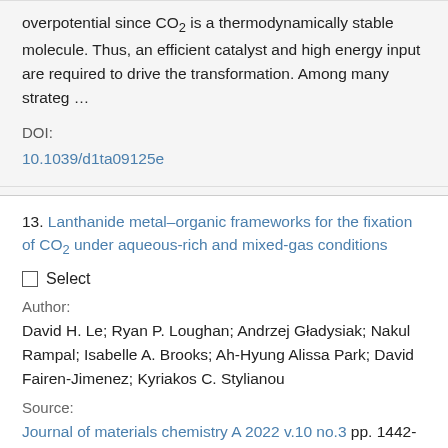overpotential since CO2 is a thermodynamically stable molecule. Thus, an efficient catalyst and high energy input are required to drive the transformation. Among many strateg …
DOI:
10.1039/d1ta09125e
13. Lanthanide metal–organic frameworks for the fixation of CO₂ under aqueous-rich and mixed-gas conditions
Select
Author:
David H. Le; Ryan P. Loughan; Andrzej Gładysiak; Nakul Rampal; Isabelle A. Brooks; Ah-Hyung Alissa Park; David Fairen-Jimenez; Kyriakos C. Stylianou
Source:
Journal of materials chemistry A 2022 v.10 no.3 pp. 1442-1450
ISSN: